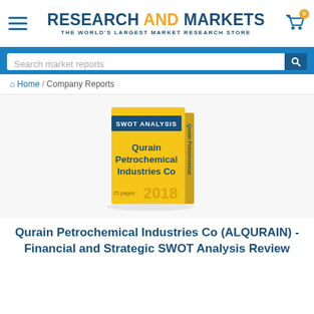RESEARCH AND MARKETS - THE WORLD'S LARGEST MARKET RESEARCH STORE
Search market reports
Home / Company Reports
[Figure (illustration): Book cover showing 'SWOT ANALYSIS' label, title 'Qurain Petrochemical Industries Co', '25 pages', year '2018', gold/yellow colored book with dark blue spine]
Qurain Petrochemical Industries Co (ALQURAIN) - Financial and Strategic SWOT Analysis Review